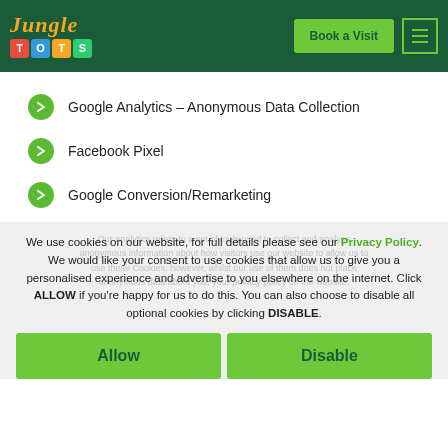[Figure (logo): Jungle Tots logo with colorful letter blocks on dark green header background]
Google Analytics – Anonymous Data Collection
Facebook Pixel
Google Conversion/Remarketing
We use cookies on our website, for full details please see our Privacy Policy. We would like your consent to use cookies that allow us to give you a personalised experience and advertise to you elsewhere on the internet. Click ALLOW if you're happy for us to do this. You can also choose to disable all optional cookies by clicking DISABLE.
Allow
Disable